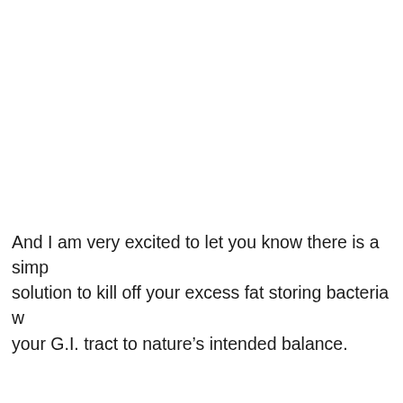And I am very excited to let you know there is a simple solution to kill off your excess fat storing bacteria w... your G.I. tract to nature's intended balance.